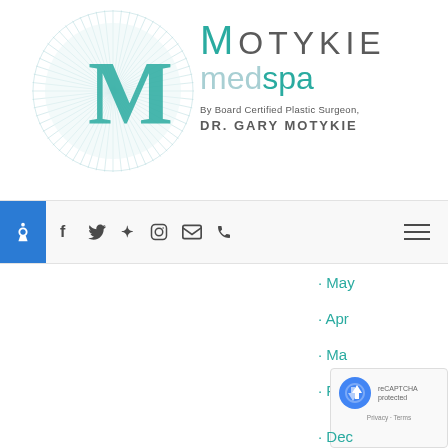[Figure (logo): Motykie MedSpa logo with circular ray design and teal M letter, tagline By Board Certified Plastic Surgeon DR. GARY MOTYKIE]
[Figure (other): Navigation bar with accessibility icon, social media icons (Facebook, Twitter, Yelp, Instagram, Email, Phone) and hamburger menu]
May
April
March
February
[Figure (other): Google reCAPTCHA badge with Privacy and Terms links]
December